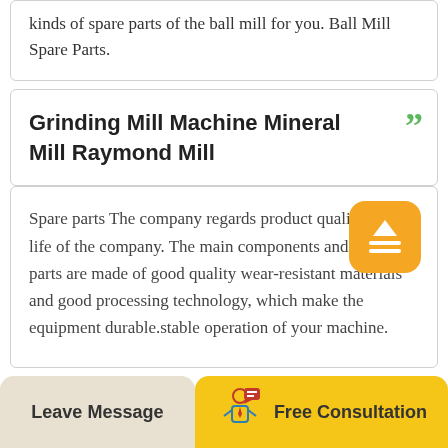kinds of spare parts of the ball mill for you. Ball Mill Spare Parts.
Grinding Mill Machine Mineral Mill Raymond Mill
Spare parts The company regards product quality as the life of the company. The main components and wearing parts are made of good quality wear-resistant materials and good processing technology, which make the equipment durable.stable operation of your machine.
Leave Message
Free Consultation